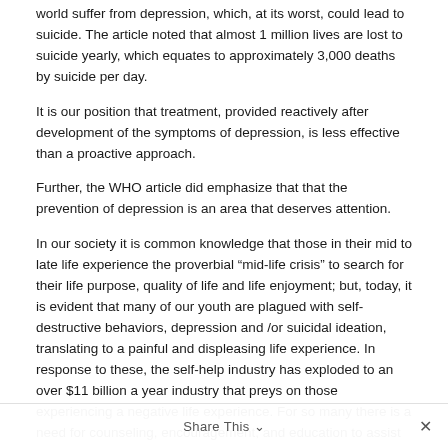world suffer from depression, which, at its worst, could lead to suicide. The article noted that almost 1 million lives are lost to suicide yearly, which equates to approximately 3,000 deaths by suicide per day.
It is our position that treatment, provided reactively after development of the symptoms of depression, is less effective than a proactive approach.
Further, the WHO article did emphasize that that the prevention of depression is an area that deserves attention.
In our society it is common knowledge that those in their mid to late life experience the proverbial “mid-life crisis” to search for their life purpose, quality of life and life enjoyment; but, today, it is evident that many of our youth are plagued with self-destructive behaviors, depression and /or suicidal ideation, translating to a painful and displeasing life experience. In response to these, the self-help industry has exploded to an over $11 billion a year industry that preys on those experiencing a negative life experience. For so many there is a need for counseling, encouragement, and education to assist them in recovery of their mental health status.
Share This ∨ ×